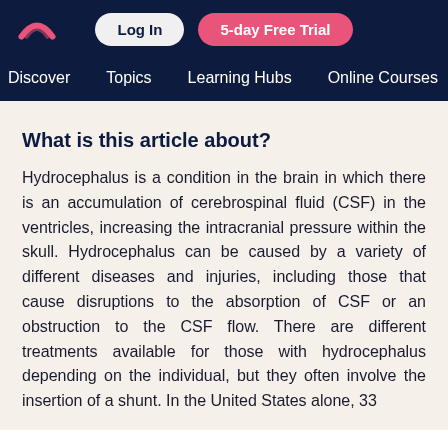Log In | 5-day Free Trial
Discover  Topics  Learning Hubs  Online Courses  Vid
What is this article about?
Hydrocephalus is a condition in the brain in which there is an accumulation of cerebrospinal fluid (CSF) in the ventricles, increasing the intracranial pressure within the skull. Hydrocephalus can be caused by a variety of different diseases and injuries, including those that cause disruptions to the absorption of CSF or an obstruction to the CSF flow. There are different treatments available for those with hydrocephalus depending on the individual, but they often involve the insertion of a shunt. In the United States alone, 33